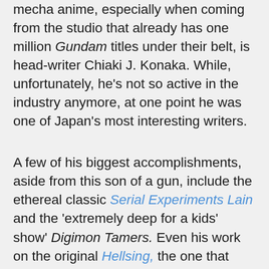mecha anime, especially when coming from the studio that already has one million Gundam titles under their belt, is head-writer Chiaki J. Konaka. While, unfortunately, he's not so active in the industry anymore, at one point he was one of Japan's most interesting writers.
A few of his biggest accomplishments, aside from this son of a gun, include the ethereal classic Serial Experiments Lain and the 'extremely deep for a kids' show' Digimon Tamers. Even his work on the original Hellsing, the one that didn't follow the manga, holds up better than you'd imagine. He imbued the characters, the dialogue, and the world of the show with so much subtle